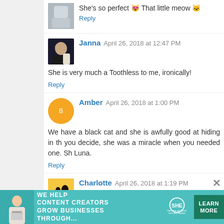She's so perfect 😻 That little meow 🐱
Reply
Janna  April 26, 2018 at 12:47 PM
She is very much a Toothless to me, ironically!
Reply
Amber  April 26, 2018 at 1:00 PM
We have a black cat and she is awfully good at hiding in th... you decide, she was a miracle when you needed one. Sh... Luna.
Reply
Charlotte  April 26, 2018 at 1:19 PM
This made me all teary-eyed this morning. I have my own road. My husband found him on his way home from a gra... had 4 other cats at the time but I never did. He's now the l... and he's terrified of everything. He doesn't like new p... sweetest, cuddliest, purriest kitty we have. We named
[Figure (infographic): SHE Partner Network advertisement banner: teal background, woman with laptop photo, text WE HELP CONTENT CREATORS GROW BUSINESSES THROUGH..., SHE logo, LEARN MORE button]